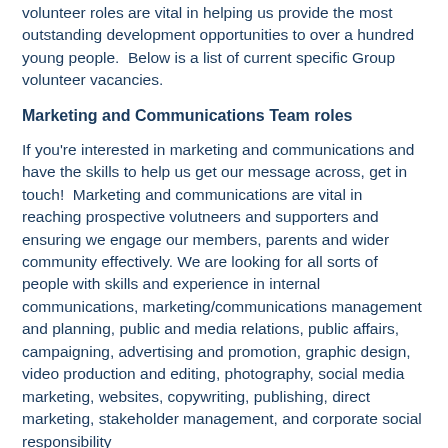volunteer roles are vital in helping us provide the most outstanding development opportunities to over a hundred young people. Below is a list of current specific Group volunteer vacancies.
Marketing and Communications Team roles
If you're interested in marketing and communications and have the skills to help us get our message across, get in touch! Marketing and communications are vital in reaching prospective volutneers and supporters and ensuring we engage our members, parents and wider community effectively. We are looking for all sorts of people with skills and experience in internal communications, marketing/communications management and planning, public and media relations, public affairs, campaigning, advertising and promotion, graphic design, video production and editing, photography, social media marketing, websites, copywriting, publishing, direct marketing, stakeholder management, and corporate social responsibility...